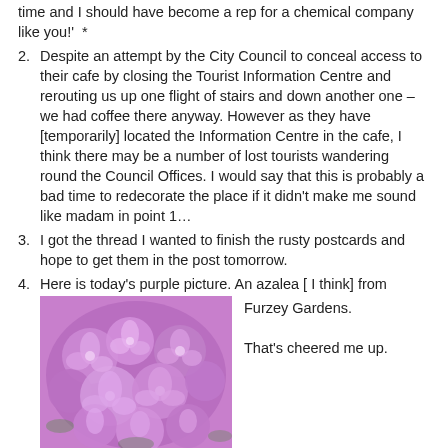(item 1 continued) time and I should have become a rep for a chemical company like you!'  *
2. Despite an attempt by the City Council to conceal access to their cafe by closing the Tourist Information Centre and rerouting us up one flight of stairs and down another one – we had coffee there anyway. However as they have [temporarily] located the Information Centre in the cafe, I think there may be a number of lost tourists wandering round the Council Offices. I would say that this is probably a bad time to redecorate the place if it didn't make me sound like madam in point 1…
3. I got the thread I wanted to finish the rusty postcards and hope to get them in the post tomorrow.
4. Here is today's purple picture. An azalea [ I think] from Furzey Gardens. That's cheered me up.
[Figure (photo): A cluster of purple azalea flowers from Furzey Gardens]